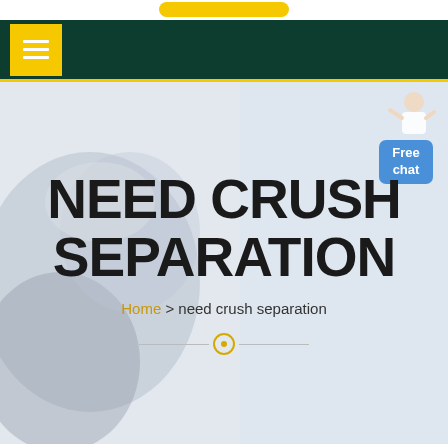[Figure (screenshot): Top white bar with a yellow rounded button centered at top]
Navigation bar with dark green background, yellow square menu button with hamburger lines
NEED CRUSH SEPARATION
Home > need crush separation
[Figure (infographic): Free chat button (blue rounded rectangle) with person image in top-right of hero area]
[Figure (photo): Background hero image showing industrial/mining machinery operator in hard hat, faded light blue overlay on right side]